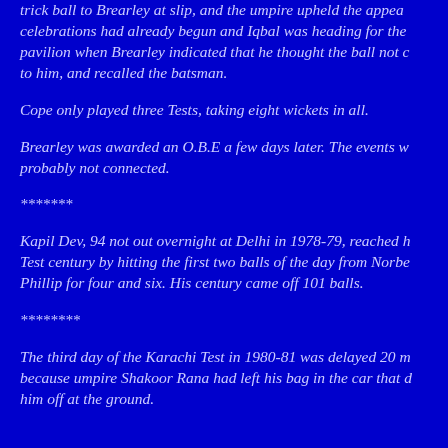trick ball to Brearley at slip, and the umpire upheld the appeal. The celebrations had already begun and Iqbal was heading for the pavilion when Brearley indicated that he thought the ball not carried to him, and recalled the batsman.
Cope only played three Tests, taking eight wickets in all.
Brearley was awarded an O.B.E a few days later. The events were probably not connected.
*******
Kapil Dev, 94 not out overnight at Delhi in 1978-79, reached his Test century by hitting the first two balls of the day from Norbert Phillip for four and six. His century came off 101 balls.
********
The third day of the Karachi Test in 1980-81 was delayed 20 minutes because umpire Shakoor Rana had left his bag in the car that dropped him off at the ground.